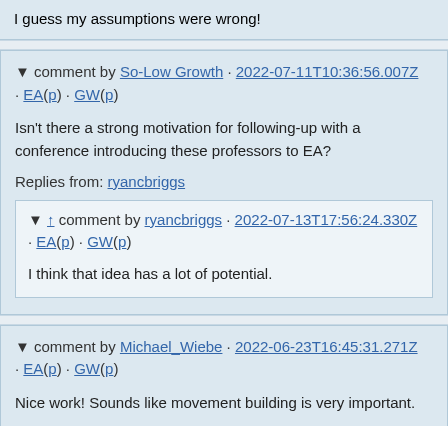I guess my assumptions were wrong!
▼ comment by So-Low Growth · 2022-07-11T10:36:56.007Z · EA(p) · GW(p)
Isn't there a strong motivation for following-up with a conference introducing these professors to EA?
Replies from: ryancbriggs
▼ ↑ comment by ryancbriggs · 2022-07-13T17:56:24.330Z · EA(p) · GW(p)
I think that idea has a lot of potential.
▼ comment by Michael_Wiebe · 2022-06-23T16:45:31.271Z · EA(p) · GW(p)
Nice work! Sounds like movement building is very important.